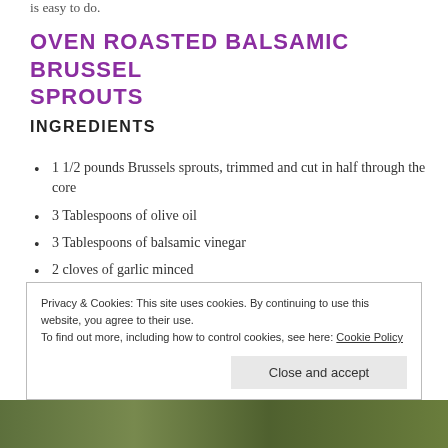is easy to do.
OVEN ROASTED BALSAMIC BRUSSEL SPROUTS
INGREDIENTS
1 1/2 pounds Brussels sprouts, trimmed and cut in half through the core
3 Tablespoons of olive oil
3 Tablespoons of balsamic vinegar
2 cloves of garlic minced
Himalayan sea salt and freshly ground black pepper
Privacy & Cookies: This site uses cookies. By continuing to use this website, you agree to their use.
To find out more, including how to control cookies, see here: Cookie Policy
Close and accept
[Figure (photo): Photo of roasted Brussels sprouts dish at the bottom of the page]